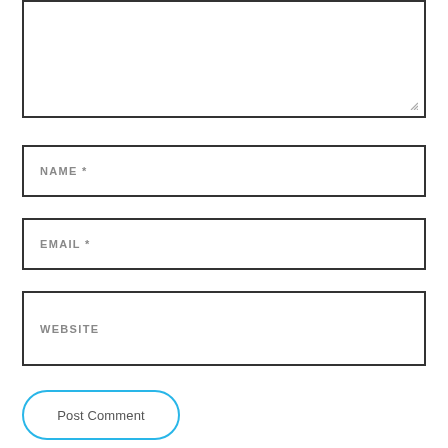[Figure (screenshot): Textarea input field (comment box) with resize handle at bottom-right corner]
NAME *
EMAIL *
WEBSITE
Post Comment